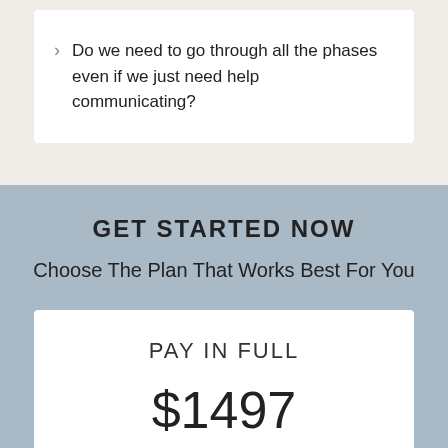Do we need to go through all the phases even if we just need help communicating?
GET STARTED NOW
Choose The Plan That Works Best For You
PAY IN FULL
$1497